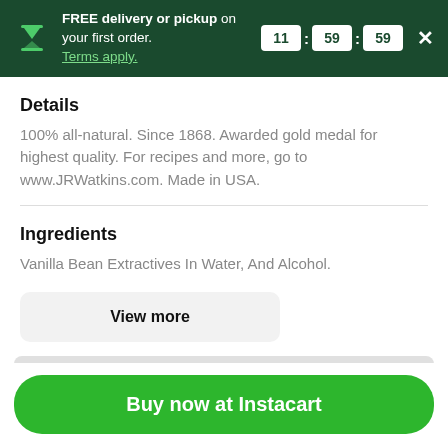FREE delivery or pickup on your first order. Terms apply. 11 : 59 : 59
Details
100% all-natural. Since 1868. Awarded gold medal for highest quality. For recipes and more, go to www.JRWatkins.com. Made in USA.
Ingredients
Vanilla Bean Extractives In Water, And Alcohol.
View more
Buy now at Instacart